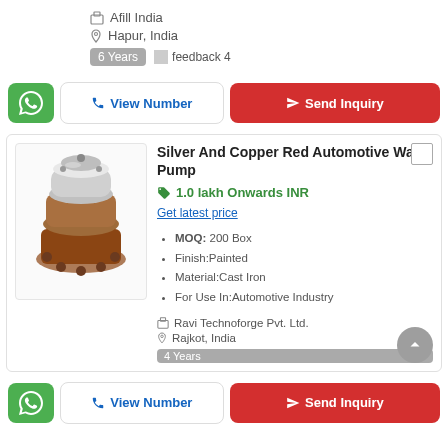Afill India
Hapur, India
6 Years  feedback 4
[Figure (screenshot): Action buttons: WhatsApp green button, View Number button, Send Inquiry red button]
[Figure (photo): Silver and copper red automotive water pump product photo]
Silver And Copper Red Automotive Water Pump
1.0 lakh Onwards INR
Get latest price
MOQ: 200 Box
Finish:Painted
Material:Cast Iron
For Use In:Automotive Industry
Ravi Technoforge Pvt. Ltd.
Rajkot, India
4 Years
[Figure (screenshot): Action buttons: WhatsApp green button, View Number button, Send Inquiry red button]